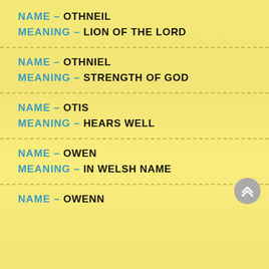NAME – OTHNEIL
MEANING – LION OF THE LORD
NAME – OTHNIEL
MEANING – STRENGTH OF GOD
NAME – OTIS
MEANING – HEARS WELL
NAME – OWEN
MEANING – IN WELSH NAME
NAME – OWENN